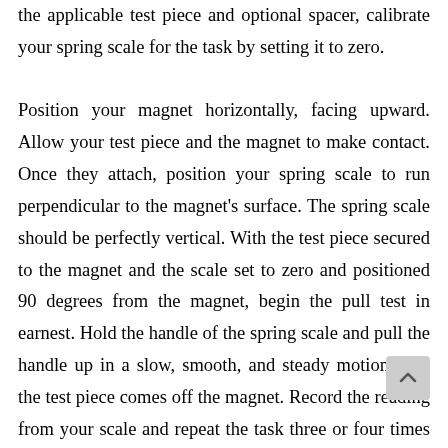the applicable test piece and optional spacer, calibrate your spring scale for the task by setting it to zero.

Position your magnet horizontally, facing upward. Allow your test piece and the magnet to make contact. Once they attach, position your spring scale to run perpendicular to the magnet's surface. The spring scale should be perfectly vertical. With the test piece secured to the magnet and the scale set to zero and positioned 90 degrees from the magnet, begin the pull test in earnest. Hold the handle of the spring scale and pull the handle up in a slow, smooth, and steady motion until the test piece comes off the magnet. Record the reading from your scale and repeat the task three or four times to account for outlying data, recording the reading for each trial. With a wide sample size, you should be able to verify the strength of your magnet. When you repeat this test later, you will be able to determine